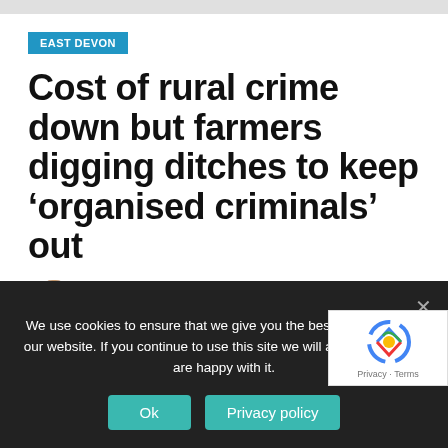EAST DEVON
Cost of rural crime down but farmers digging ditches to keep ‘organised criminals’ out
By BELINDA BENNETT — 5th August 2019 💬 No Comments
[Figure (photo): Dark partial photo showing blurred background, appears to be inside a vehicle or farm setting]
We use cookies to ensure that we give you the best experience on our website. If you continue to use this site we will assume that you are happy with it.